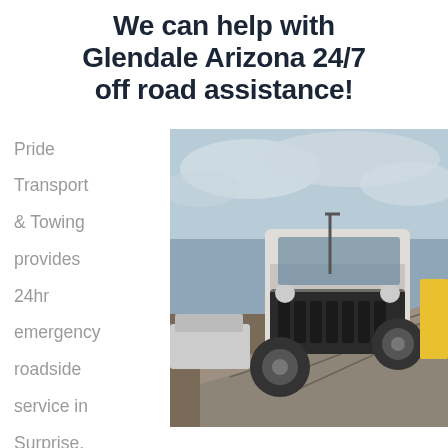We can help with Glendale Arizona 24/7 off road assistance!
Pride Transport & Towing provides 24hr emergency roadside service in Surprise,
[Figure (photo): A damaged white Jeep Wrangler without a hood being loaded onto a flatbed tow truck ramp in an outdoor lot with other vehicles and a cloudy sky in the background.]